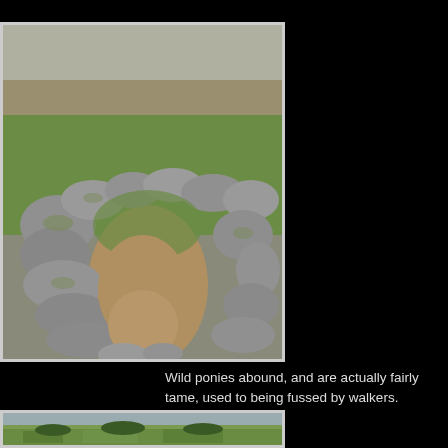[Figure (photo): Stone circle or hut ruin with large granite boulders arranged in a circular wall, green grass visible inside and outside, moorland with scrubby grass in the background under an overcast sky.]
Wild ponies abound, and are actually fairly tame, used to being fussed by walkers.
[Figure (photo): Panoramic landscape view of a wide valley with green fields, hedgerows, and scattered trees under an overcast sky, viewed from elevated moorland.]